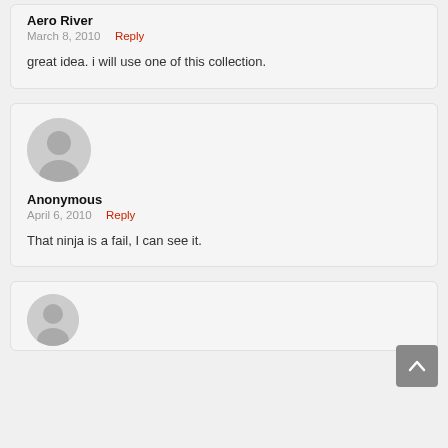Aero River
March 8, 2010  Reply
great idea. i will use one of this collection.
[Figure (illustration): Anonymous user avatar - grey silhouette of a person on light grey circle background]
Anonymous
April 6, 2010  Reply
That ninja is a fail, I can see it.
[Figure (illustration): Partial anonymous user avatar at bottom of page]